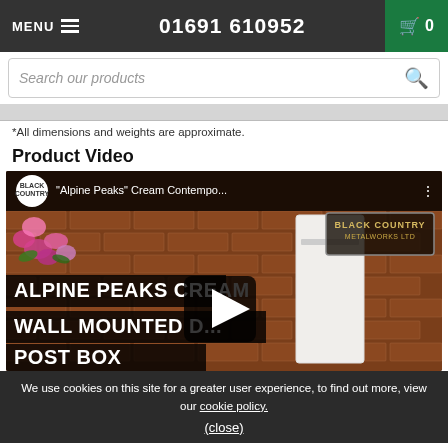MENU  01691 610952  0
Search our products
*All dimensions and weights are approximate.
Product Video
[Figure (screenshot): YouTube video thumbnail for 'Alpine Peaks Cream Contemporary Wall Mounted Post Box' by Black Country Metalworks Ltd. Shows a cream/white wall-mounted post box against a brick wall, with flowers in the upper left. Video title overlay text reads: ALPINE PEAKS CREAM WALL MOUNTED D... POST BOX. Play button visible in center.]
We use cookies on this site for a greater user experience, to find out more, view our cookie policy.
(close)